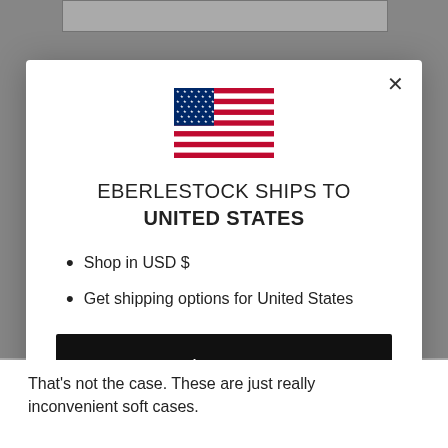[Figure (screenshot): Background webpage content partially visible behind modal overlay]
[Figure (illustration): US flag SVG illustration centered at top of modal]
EBERLESTOCK SHIPS TO UNITED STATES
Shop in USD $
Get shipping options for United States
Shop now
Change shipping country
That's not the case. These are just really inconvenient soft cases.